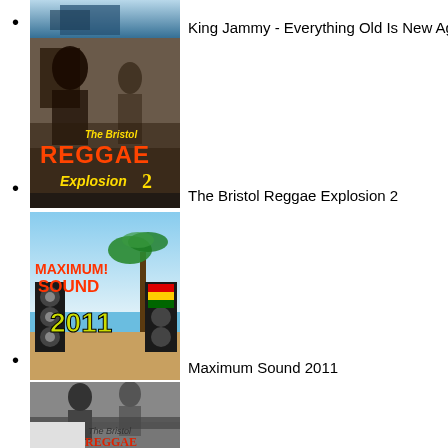King Jammy - Everything Old Is New Ag...
[Figure (photo): Album cover for The Bristol Reggae Explosion 2 - black and white photo of musicians with colorful reggae text overlay]
The Bristol Reggae Explosion 2
[Figure (photo): Album cover for Maximum Sound 2011 - colorful tropical design with palm trees and speakers]
Maximum Sound 2011
[Figure (photo): Album cover for The Bristol Reggae - black and white photo of musicians at turntables with colorful reggae text]